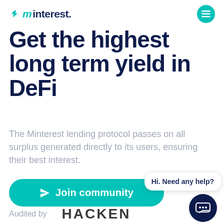[Figure (logo): Minterest logo with teal lightning bolt icon and dark blue text reading 'minterest.' plus teal hamburger menu button]
Get the highest long term yield in DeFi
The Minterest lending protocol passes on all surplus generated directly to its users, ensuring their best interest.
[Figure (other): Teal rounded button with paper plane icon and text 'Join community']
Hi. Need any help?
[Figure (other): Dark navy chat icon circle button]
Audited by
[Figure (logo): HACKEN logo in bold dark gray letters]